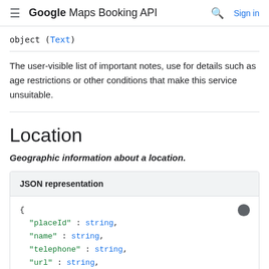Google Maps Booking API
object (Text)
The user-visible list of important notes, use for details such as age restrictions or other conditions that make this service unsuitable.
Location
Geographic information about a location.
JSON representation
{
  "placeId" : string,
  "name" : string,
  "telephone" : string,
  "url" : string,